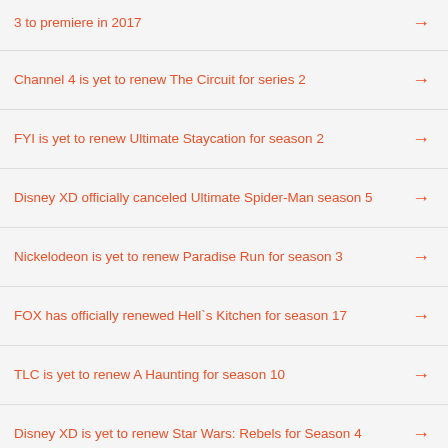3 to premiere in 2017
Channel 4 is yet to renew The Circuit for series 2
FYI is yet to renew Ultimate Staycation for season 2
Disney XD officially canceled Ultimate Spider-Man season 5
Nickelodeon is yet to renew Paradise Run for season 3
FOX has officially renewed Hell`s Kitchen for season 17
TLC is yet to renew A Haunting for season 10
Disney XD is yet to renew Star Wars: Rebels for Season 4
FOX scheduled Hell`s Kitchen season 16 premiere date
History Channel is yet to renew Live to Tell for season 2
WE tv is yet to renew South of Hell for season 2
Disney XD has officially renewed Star vs. The Forces of Evil for season 3